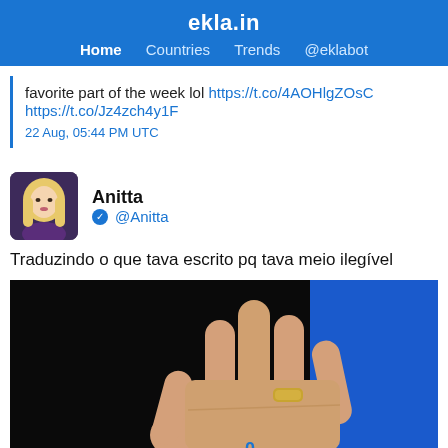ekla.in — Home  Countries  Trends  @eklabot
favorite part of the week lol https://t.co/4AOHlgZOsC https://t.co/Jz4zch4y1F
22 Aug, 05:44 PM UTC
Anitta @Anitta
Traduzindo o que tava escrito pq tava meio ilegível
[Figure (photo): A hand with palm facing the viewer, wearing a gold ring on the ring finger, against a dark/blue background. Appears to be a video frame.]